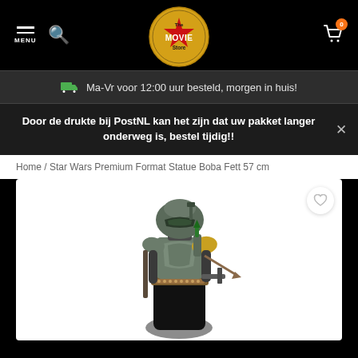[Figure (logo): The Movie Store logo — gold/yellow circular badge with red star and 'The MOVIE Store' text in the center]
Ma-Vr voor 12:00 uur besteld, morgen in huis!
Door de drukte bij PostNL kan het zijn dat uw pakket langer onderweg is, bestel tijdig!!
Home / Star Wars Premium Format Statue Boba Fett 57 cm
[Figure (photo): Boba Fett Premium Format Statue, approximately 57 cm tall, detailed armor with Mandalorian helmet, holding weapons, on white background]